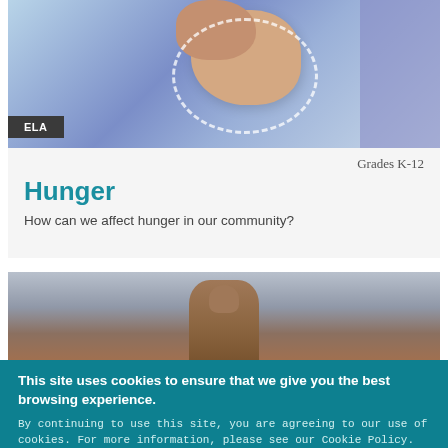[Figure (photo): Close-up photo of a hand/fist with a dashed oval circle, on a blue-purple background with a purple block on the right.]
ELA
Grades K-12
Hunger
How can we affect hunger in our community?
[Figure (photo): Photo of a large stone statue (MLK memorial) against a cloudy sky.]
This site uses cookies to ensure that we give you the best browsing experience.
By continuing to use this site, you are agreeing to our use of cookies. For more information, please see our Cookie Policy.